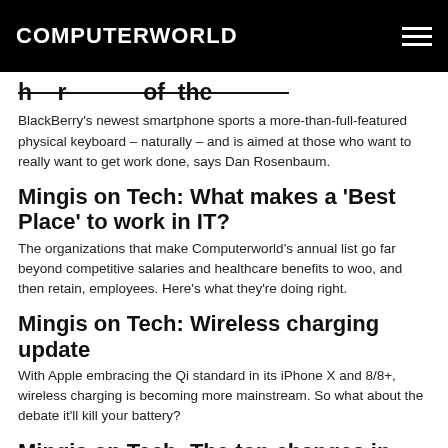COMPUTERWORLD
[partial title cut off — appears to be a headline about the BlackBerry]
BlackBerry's newest smartphone sports a more-than-full-featured physical keyboard – naturally – and is aimed at those who want to really want to get work done, says Dan Rosenbaum.
Mingis on Tech: What makes a 'Best Place' to work in IT?
The organizations that make Computerworld's annual list go far beyond competitive salaries and healthcare benefits to woo, and then retain, employees. Here's what they're doing right.
Mingis on Tech: Wireless charging update
With Apple embracing the Qi standard in its iPhone X and 8/8+, wireless charging is becoming more mainstream. So what about the debate it'll kill your battery?
Mingis on Tech: The top changes in